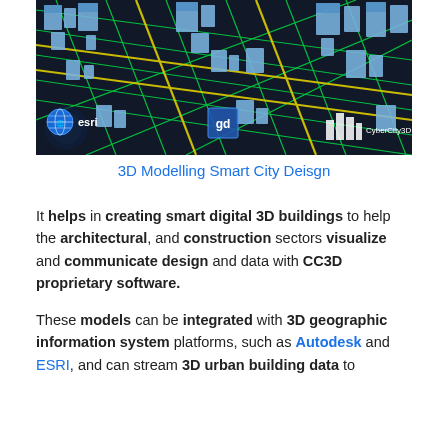[Figure (photo): Aerial 3D rendering of an urban smart city with blue buildings and green/yellow road network overlays, featuring logos: esri (globe icon, left), a square GD logo (center), and CyberCity3D (building icon, right)]
3D Modelling Smart City Deisgn
It helps in creating smart digital 3D buildings to help the architectural, and construction sectors visualize and communicate design and data with CC3D proprietary software.
These models can be integrated with 3D geographic information system platforms, such as Autodesk and ESRI, and can stream 3D urban building data to